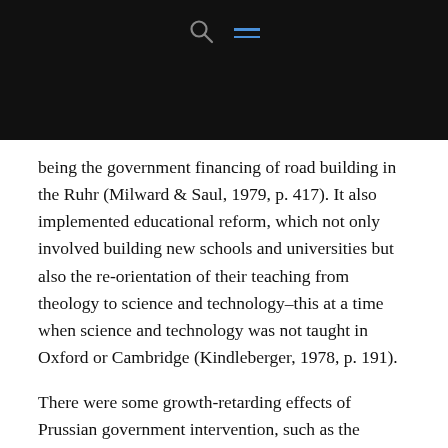being the government financing of road building in the Ruhr (Milward & Saul, 1979, p. 417). It also implemented educational reform, which not only involved building new schools and universities but also the re-orientation of their teaching from theology to science and technology–this at a time when science and technology was not taught in Oxford or Cambridge (Kindleberger, 1978, p. 191).
There were some growth-retarding effects of Prussian government intervention, such as the opposition to the development of banking (Kindleberger, 1978, pp. 199–200).